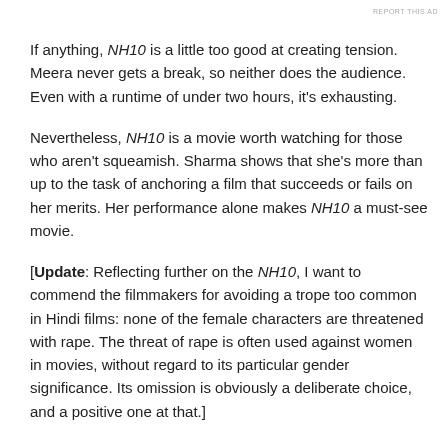REPORT THIS AD
If anything, NH10 is a little too good at creating tension. Meera never gets a break, so neither does the audience. Even with a runtime of under two hours, it's exhausting.
Nevertheless, NH10 is a movie worth watching for those who aren't squeamish. Sharma shows that she's more than up to the task of anchoring a film that succeeds or fails on her merits. Her performance alone makes NH10 a must-see movie.
[Update: Reflecting further on the NH10, I want to commend the filmmakers for avoiding a trope too common in Hindi films: none of the female characters are threatened with rape. The threat of rape is often used against women in movies, without regard to its particular gender significance. Its omission is obviously a deliberate choice, and a positive one at that.]